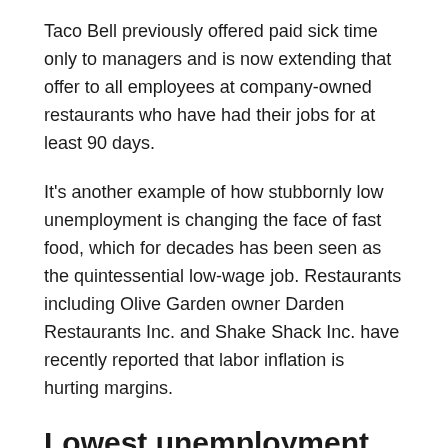Taco Bell previously offered paid sick time only to managers and is now extending that offer to all employees at company-owned restaurants who have had their jobs for at least 90 days.
It's another example of how stubbornly low unemployment is changing the face of fast food, which for decades has been seen as the quintessential low-wage job. Restaurants including Olive Garden owner Darden Restaurants Inc. and Shake Shack Inc. have recently reported that labor inflation is hurting margins.
Lowest unemployment rates since 1969
In November, the unemployment rate fell to 3.5%, matching the lowest since 1969, while average hourly earnings climbed and exceeded projections.